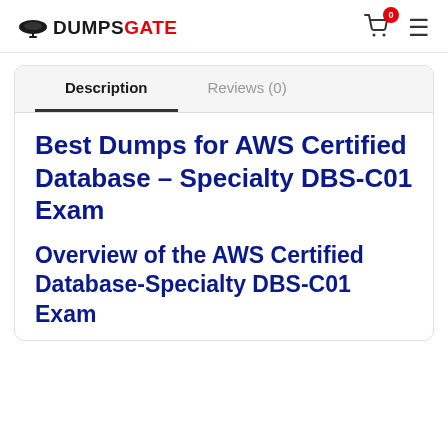DUMPSGATE
Description | Reviews (0)
Best Dumps for AWS Certified Database – Specialty DBS-C01 Exam
Overview of the AWS Certified Database-Specialty DBS-C01 Exam